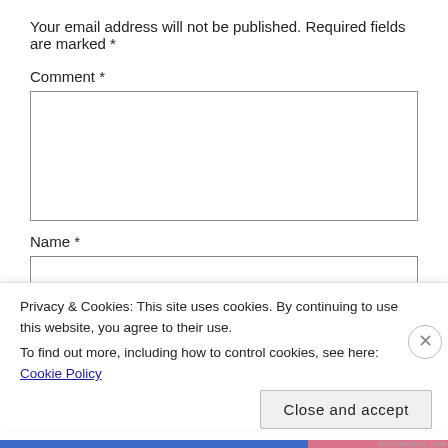Your email address will not be published. Required fields are marked *
Comment *
Name *
Email *
Privacy & Cookies: This site uses cookies. By continuing to use this website, you agree to their use.
To find out more, including how to control cookies, see here: Cookie Policy